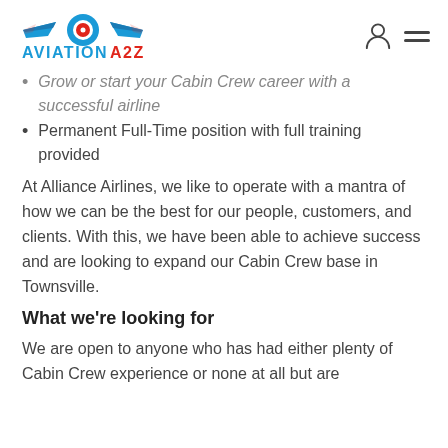[Figure (logo): Aviation A2Z logo with blue wings and red circle, and blue/red text reading AVIATION A2Z]
Grow or start your Cabin Crew career with a successful airline
Permanent Full-Time position with full training provided
At Alliance Airlines, we like to operate with a mantra of how we can be the best for our people, customers, and clients. With this, we have been able to achieve success and are looking to expand our Cabin Crew base in Townsville.
What we're looking for
We are open to anyone who has had either plenty of Cabin Crew experience or none at all but are [cut off]